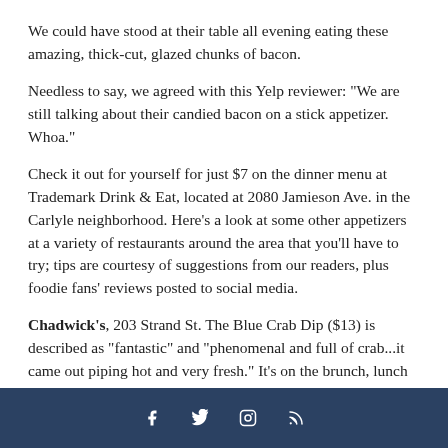We could have stood at their table all evening eating these amazing, thick-cut, glazed chunks of bacon.
Needless to say, we agreed with this Yelp reviewer: "We are still talking about their candied bacon on a stick appetizer. Whoa."
Check it out for yourself for just $7 on the dinner menu at Trademark Drink & Eat, located at 2080 Jamieson Ave. in the Carlyle neighborhood. Here's a look at some other appetizers at a variety of restaurants around the area that you'll have to try; tips are courtesy of suggestions from our readers, plus foodie fans' reviews posted to social media.
Chadwick's, 203 Strand St. The Blue Crab Dip ($13) is described as "fantastic" and "phenomenal and full of crab...it came out piping hot and very fresh." It's on the brunch, lunch and dinner menus.
f  Twitter  Instagram  RSS